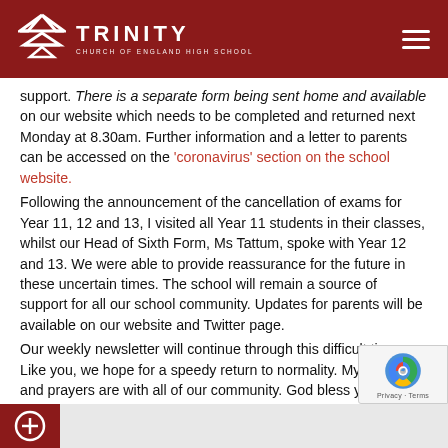Trinity Church of England High School
support. There is a separate form being sent home and available on our website which needs to be completed and returned next Monday at 8.30am. Further information and a letter to parents can be accessed on the 'coronavirus' section on the school website.
Following the announcement of the cancellation of exams for Year 11, 12 and 13, I visited all Year 11 students in their classes, whilst our Head of Sixth Form, Ms Tattum, spoke with Year 12 and 13. We were able to provide reassurance for the future in these uncertain times. The school will remain a source of support for all our school community. Updates for parents will be available on our website and Twitter page.
Our weekly newsletter will continue through this difficult time. Like you, we hope for a speedy return to normality. My thoughts and prayers are with all of our community. God bless you all.
Read more in our newsletter...